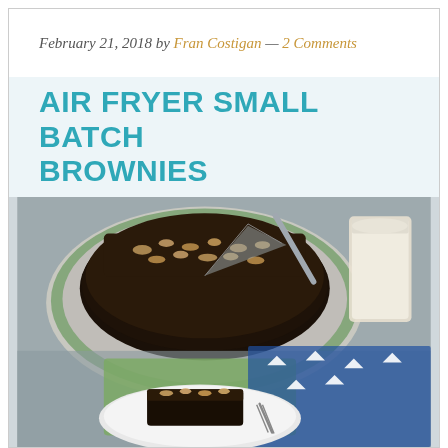February 21, 2018 by Fran Costigan — 2 Comments
AIR FRYER SMALL BATCH BROWNIES
[Figure (photo): Photo of chocolate brownies topped with chopped nuts on a green-rimmed plate, with a slice served on a small white plate with a fork, accompanied by a glass of milk, on a gray surface with a blue and white patterned napkin]